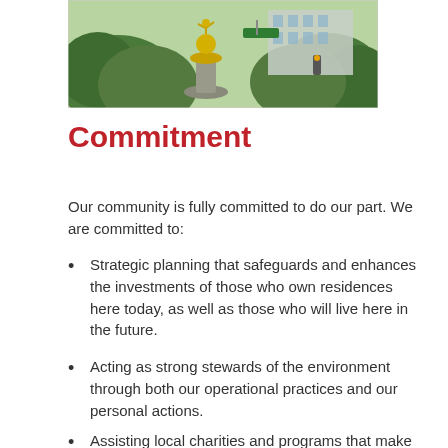[Figure (photo): Outdoor photo showing a golden statue or sculpture on a pedestal surrounded by lush green trees, with a modern building visible in the background and a traffic signal light.]
Commitment
Our community is fully committed to do our part. We are committed to:
Strategic planning that safeguards and enhances the investments of those who own residences here today, as well as those who will live here in the future.
Acting as strong stewards of the environment through both our operational practices and our personal actions.
Assisting local charities and programs that make a difference in our